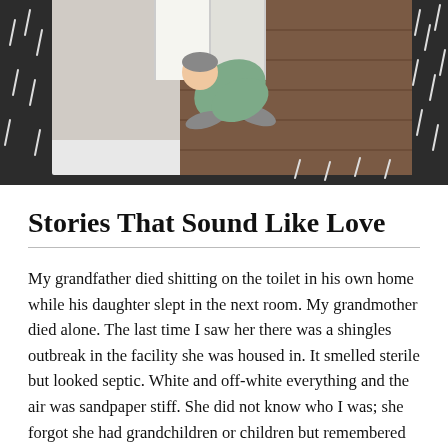[Figure (illustration): Illustration showing a top-down view of a person in a green garment falling or lying near an open doorway with rain falling, rendered in a flat graphic style with dark background, brown floor tones, and white rain streaks.]
Stories That Sound Like Love
My grandfather died shitting on the toilet in his own home while his daughter slept in the next room. My grandmother died alone. The last time I saw her there was a shingles outbreak in the facility she was housed in. It smelled sterile but looked septic. White and off-white everything and the air was sandpaper stiff. She did not know who I was; she forgot she had grandchildren or children but remembered her